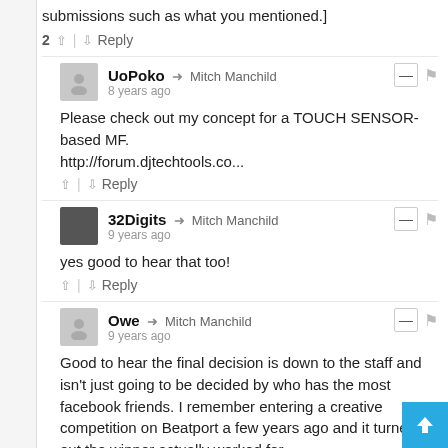submissions such as what you mentioned.]
2 ▲ | ▼ Reply
UoPoko → Mitch Manchild
8 years ago
Please check out my concept for a TOUCH SENSOR-based MF.
http://forum.djtechtools.co...
▲ | ▼ Reply
32Digits → Mitch Manchild
9 years ago
yes good to hear that too!
▲ | ▼ Reply
Owe → Mitch Manchild
9 years ago
Good to hear the final decision is down to the staff and isn't just going to be decided by who has the most facebook friends. I remember entering a creative competition on Beatport a few years ago and it turned out the winner actually worked for